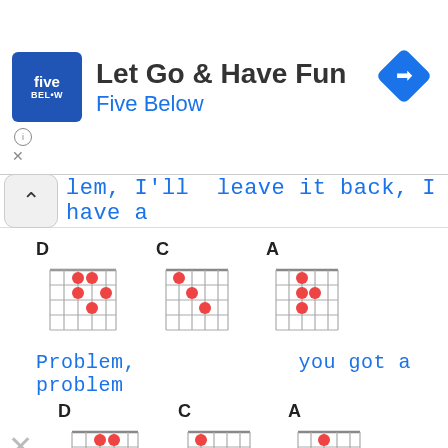[Figure (screenshot): Five Below advertisement banner with logo, title 'Let Go & Have Fun', subtitle 'Five Below', info icon, close X, and navigation arrow icon]
lem, I'll  leave it back, I have a
[Figure (illustration): Guitar chord diagrams for D, C, A chords]
Problem,              you got a problem
[Figure (illustration): Guitar chord diagrams for D, C, A chords with X mute marker]
Problem,              problem,
[Figure (illustration): Guitar chord diagram for A chord (partial, cut off at bottom)]